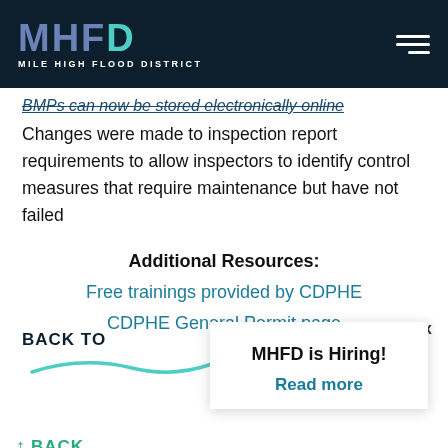MHFD MILE HIGH FLOOD DISTRICT
BMPs can now be stored electronically online
Changes were made to inspection report requirements to allow inspectors to identify control measures that require maintenance but have not failed
Additional Resources:
Free trainings provided by CDPHE
CDPHE General Permit page
BACK TO
MHFD is Hiring!
Read more
BACK